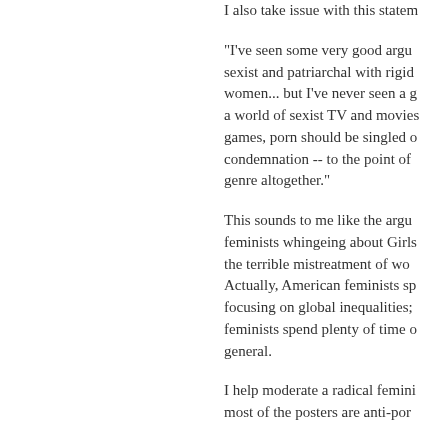I also take issue with this statem...
"I've seen some very good argu... sexist and patriarchal with rigid... women... but I've never seen a g... a world of sexist TV and movies... games, porn should be singled o... condemnation -- to the point of ... genre altogether."
This sounds to me like the argu... feminists whingeing about Girls... the terrible mistreatment of wo... Actually, American feminists sp... focusing on global inequalities;... feminists spend plenty of time o... general.
I help moderate a radical femini... most of the posters are anti-por...